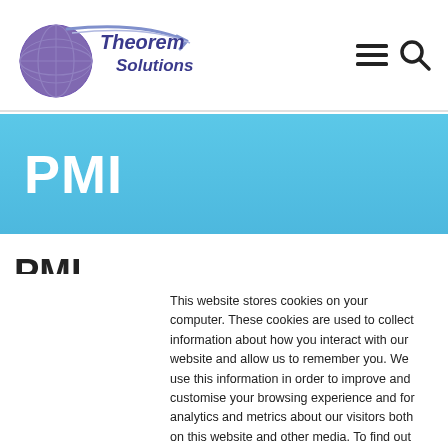[Figure (logo): Theorem Solutions logo with globe and arrow graphic and company name]
PMI
PMI
This website stores cookies on your computer. These cookies are used to collect information about how you interact with our website and allow us to remember you. We use this information in order to improve and customise your browsing experience and for analytics and metrics about our visitors both on this website and other media. To find out more about the cookies we use, see our Privacy Policy.
Accept